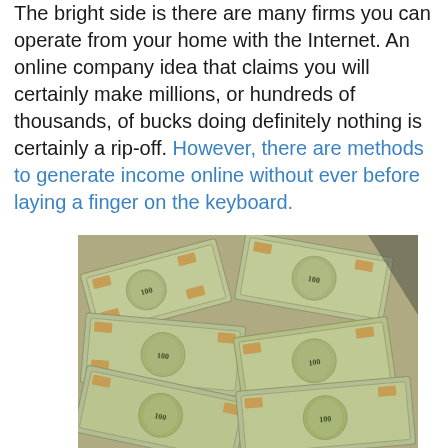The bright side is there are many firms you can operate from your home with the Internet. An online company idea that claims you will certainly make millions, or hundreds of thousands, of bucks doing definitely nothing is certainly a rip-off. However, there are methods to generate income online without ever before laying a finger on the keyboard.
[Figure (photo): A large pile of scattered US $100 dollar bills filling the frame, showing multiple overlapping banknotes with Benjamin Franklin portraits, green and grey tones.]